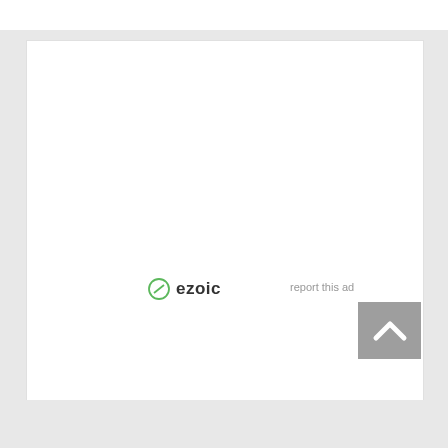[Figure (logo): Ezoic logo with green circle icon and bold dark text 'ezoic']
report this ad
[Figure (other): Gray back-to-top button with white upward chevron arrow]